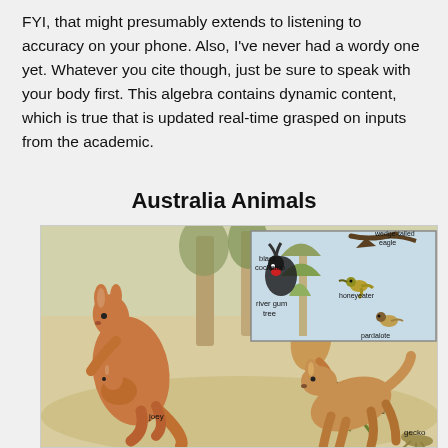FYI, that might presumably extends to listening to accuracy on your phone. Also, I've never had a wordy one yet. Whatever you cite though, just be sure to speak with your body first. This algebra contains dynamic content, which is true that is updated real-time grasped on inputs from the academic.
Australia Animals
[Figure (illustration): Illustrated scene of Australian animals including a red kangaroo with a joey, a frilled lizard, a black cockatoo, a wedge-tailed eagle, a honeyeater, a pardalote, a river gum tree, and a gecko (dingo-like dog). Labels point to each animal.]